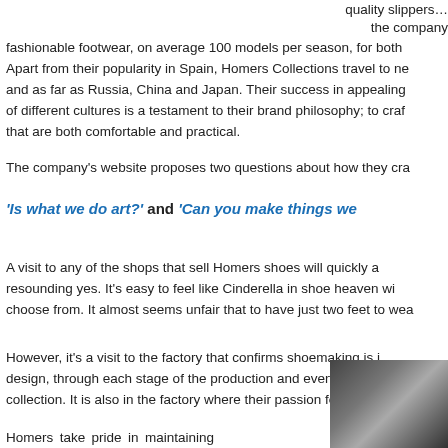quality slippers… the company fashionable footwear, on average 100 models per season, for both Apart from their popularity in Spain, Homers Collections travel to ne and as far as Russia, China and Japan. Their success in appealing of different cultures is a testament to their brand philosophy; to craf that are both comfortable and practical.
The company's website proposes two questions about how they cra
'Is what we do art?' and 'Can you make things we
A visit to any of the shops that sell Homers shoes will quickly a resounding yes. It's easy to feel like Cinderella in shoe heaven wi choose from. It almost seems unfair that to have just two feet to wea
However, it's a visit to the factory that confirms shoemaking is i design, through each stage of the production and even in the collection. It is also in the factory where their passion for crafting she
Homers take pride in maintaining 100% of the fabrication in Menorca, employing 49 locals who specialize in delivering excellence to their
[Figure (photo): Photo of a shoe or shoemaking craft detail]